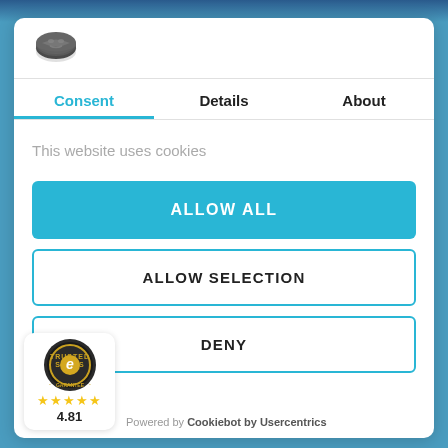[Figure (logo): Cookiebot logo - cookie icon in dark grey/charcoal]
Consent | Details | About
This website uses cookies
ALLOW ALL
ALLOW SELECTION
DENY
[Figure (logo): Trusted Shops Garantee badge with gold stars and 4.81 rating]
★★★★★
4.81
Powered by Cookiebot by Usercentrics